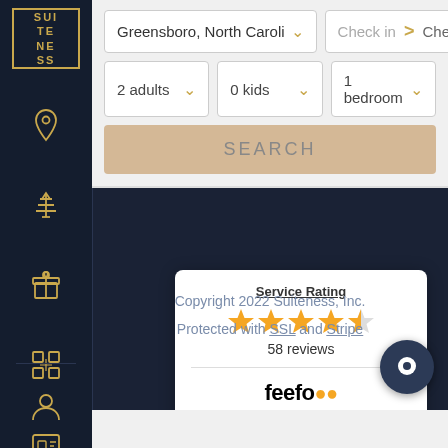[Figure (logo): Suiteness logo - square with golden border and SUITENESS text]
[Figure (screenshot): Search form with location 'Greensboro, North Caroli', check in/out dates, 2 adults, 0 kids, 1 bedroom, and SEARCH button]
[Figure (infographic): Feefo service rating card showing 4.5 stars and 58 reviews with feefo logo]
Service Rating
58 reviews
Copyright 2022 Suiteness, Inc. Protected with SSL and Stripe